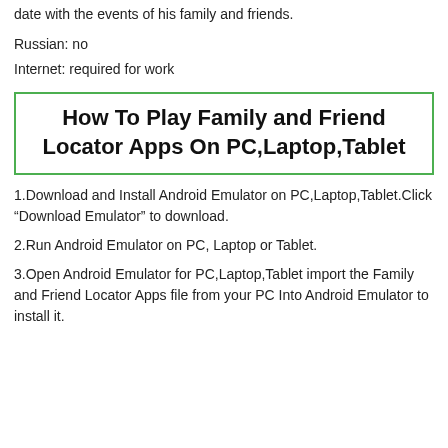date with the events of his family and friends.
Russian: no
Internet: required for work
How To Play Family and Friend Locator Apps On PC,Laptop,Tablet
1.Download and Install Android Emulator on PC,Laptop,Tablet.Click “Download Emulator” to download.
2.Run Android Emulator on PC, Laptop or Tablet.
3.Open Android Emulator for PC,Laptop,Tablet import the Family and Friend Locator Apps file from your PC Into Android Emulator to install it.